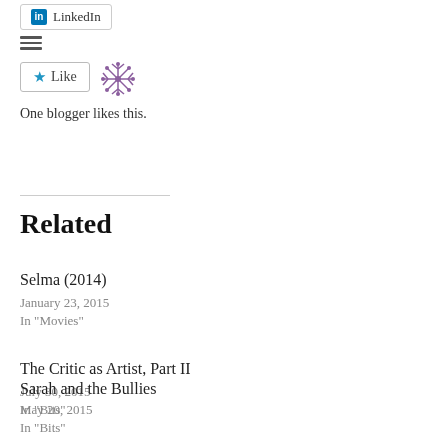[Figure (other): LinkedIn share button with LinkedIn icon]
[Figure (other): Hamburger menu icon (three horizontal lines)]
[Figure (other): Like button with blue star icon and snowflake avatar]
One blogger likes this.
Related
Selma (2014)
January 23, 2015
In "Movies"
The Critic as Artist, Part II
July 30, 2015
In "Bits"
Sarah and the Bullies
May 20, 2015
In "Bits"